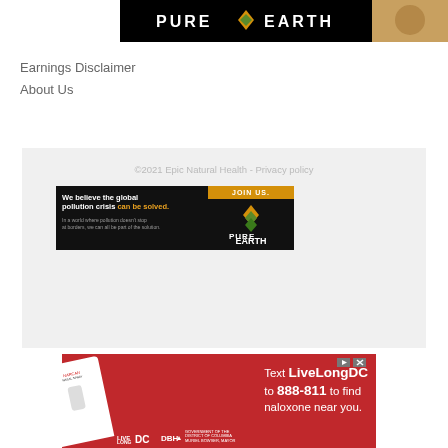[Figure (logo): Pure Earth logo banner in black with gold diamond logo and white text on black background, with an image of hands/soil on the right]
Earnings Disclaimer
About Us
©2021 Epic Natural Health - Privacy policy
[Figure (illustration): Pure Earth advertisement: We believe the global pollution crisis can be solved. In a world where pollution doesn't stop at borders, we can all be part of the solution. JOIN US. Pure Earth logo.]
[Figure (illustration): Red advertisement: Text LiveLongDC to 888-811 to find naloxone near you. Shows nasal spray. LiveLong DC, DBH, Government of the District of Columbia, Muriel Bowser Mayor logos.]